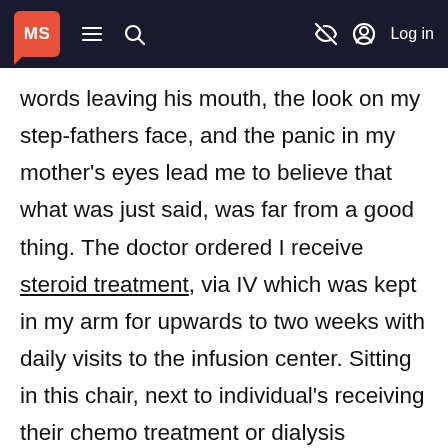MS [logo] ≡ 🔍 [no-eye icon] [user icon] Log in
words leaving his mouth, the look on my step-fathers face, and the panic in my mother's eyes lead me to believe that what was just said, was far from a good thing. The doctor ordered I receive steroid treatment, via IV which was kept in my arm for upwards to two weeks with daily visits to the infusion center. Sitting in this chair, next to individual's receiving their chemo treatment or dialysis changed everything for me. Those hours I spent in the chair felt like eternity, not because I was uncomfortable, but because I began to reflect on what I had done with my life